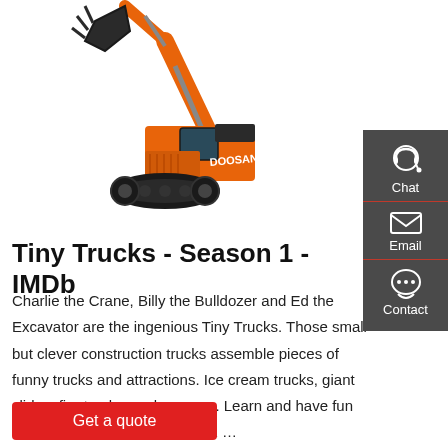[Figure (photo): Orange Doosan excavator with articulated arm and bucket raised, on tracked undercarriage, on white background]
Tiny Trucks - Season 1 - IMDb
Charlie the Crane, Billy the Bulldozer and Ed the Excavator are the ingenious Tiny Trucks. Those small but clever construction trucks assemble pieces of funny trucks and attractions. Ice cream trucks, giant slides, fire trucks, and so more. Learn and have fun with the Tiny Trucks. S1, Ep4 2 …
[Figure (infographic): Dark sidebar with Chat, Email, and Contact icons and labels]
Get a quote